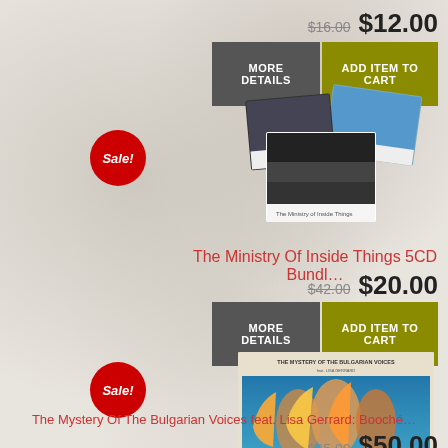$16.00 $12.00
MORE DETAILS
ADD ITEM TO CART
[Figure (photo): Album art collage for The Ministry Of Inside Things 5CD Bundle]
Sale!
The Ministry Of Inside Things 5CD Bundle
$42.00 $20.00
MORE DETAILS
ADD ITEM TO CART
[Figure (photo): Album art for The Mystery Of The Bulgarian Voices featuring women with flowing hair in colorful painting style]
Sale!
The Mystery Of The Bulgarian Voices feat. Lisa Gerrard: Booche...
$65.00 $50.00